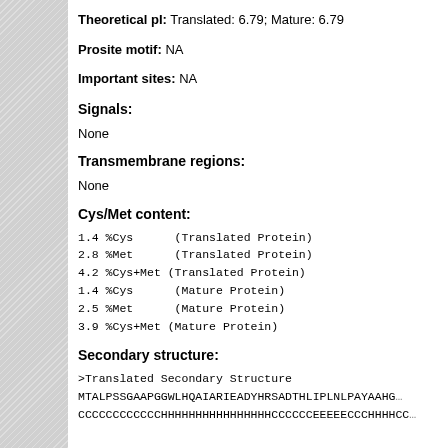Theoretical pI: Translated: 6.79; Mature: 6.79
Prosite motif: NA
Important sites: NA
Signals:
None
Transmembrane regions:
None
Cys/Met content:
1.4 %Cys      (Translated Protein)
2.8 %Met      (Translated Protein)
4.2 %Cys+Met (Translated Protein)
1.4 %Cys      (Mature Protein)
2.5 %Met      (Mature Protein)
3.9 %Cys+Met (Mature Protein)
Secondary structure:
>Translated Secondary Structure
MTALPSSGAAPGGWLHQAIARIEADYHRSADTHLIPLNLPAYAAHG
CCCCCCCCCCCCCHHHHHHHHHHHHHHHHCCCCCCEEEEECCCHHHHCC